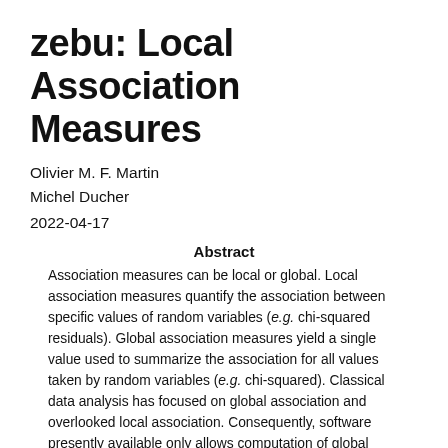zebu: Local Association Measures
Olivier M. F. Martin
Michel Ducher
2022-04-17
Abstract
Association measures can be local or global. Local association measures quantify the association between specific values of random variables (e.g. chi-squared residuals). Global association measures yield a single value used to summarize the association for all values taken by random variables (e.g. chi-squared). Classical data analysis has focused on global association and overlooked local association. Consequently, software presently available only allows computation of global association measures. Nonetheless, a significant global association can hide a non-significant local association, and a non-significant global